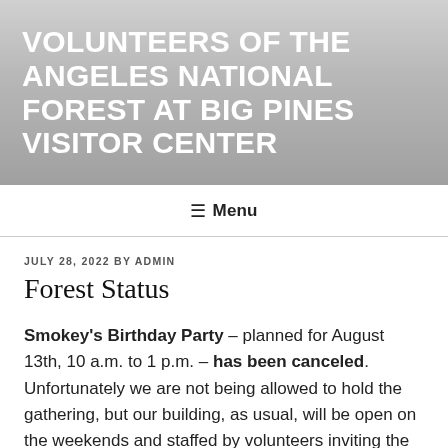VOLUNTEERS OF THE ANGELES NATIONAL FOREST AT BIG PINES VISITOR CENTER
☰ Menu
JULY 28, 2022 BY ADMIN
Forest Status
Smokey's Birthday Party – planned for August 13th, 10 a.m. to 1 p.m. – has been canceled.  Unfortunately we are not being allowed to hold the gathering, but our building, as usual, will be open on the weekends and staffed by volunteers inviting the public to enjoy the